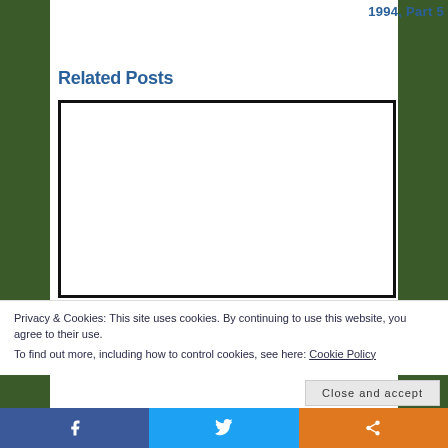1994, Part 5
Related Posts
[Figure (other): White box with thick black border, an image placeholder for a related post thumbnail]
Privacy & Cookies: This site uses cookies. By continuing to use this website, you agree to their use.
To find out more, including how to control cookies, see here: Cookie Policy
Close and accept